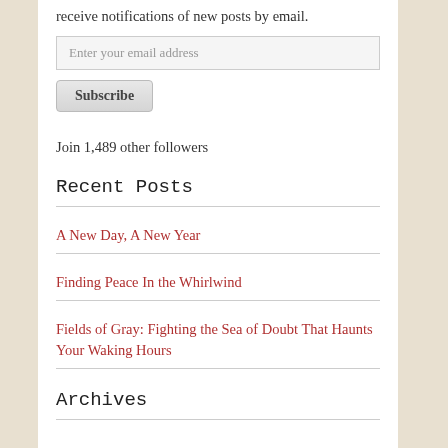receive notifications of new posts by email.
Enter your email address
Subscribe
Join 1,489 other followers
Recent Posts
A New Day, A New Year
Finding Peace In the Whirlwind
Fields of Gray: Fighting the Sea of Doubt That Haunts Your Waking Hours
Archives